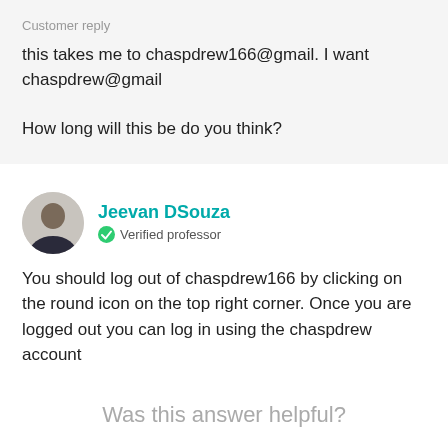Customer reply
this takes me to chaspdrew166@gmail. I want chaspdrew@gmail

How long will this be do you think?
Jeevan DSouza
Verified professor
You should log out of chaspdrew166 by clicking on the round icon on the top right corner. Once you are logged out you can log in using the chaspdrew account
Was this answer helpful?